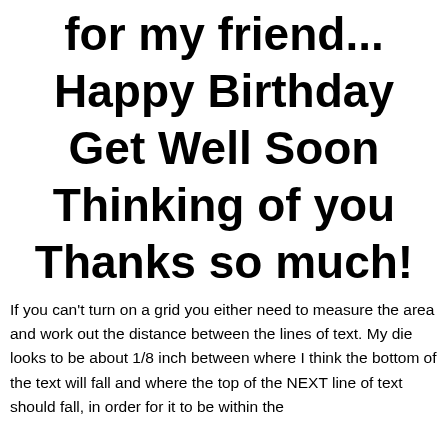for my friend...
Happy Birthday
Get Well Soon
Thinking of you
Thanks so much!
If you can't turn on a grid you either need to measure the area and work out the distance between the lines of text. My die looks to be about 1/8 inch between where I think the bottom of the text will fall and where the top of the NEXT line of text should fall, in order for it to be within the